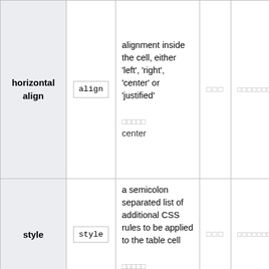|  |  | Description |  |  |
| --- | --- | --- | --- | --- |
| horizontal align | align | alignment inside the cell, either 'left', 'right', 'center' or 'justified'

Default: center | □□□ | □□□□□□□□□□□□ |
| style | style | a semicolon separated list of additional CSS rules to be applied to the table cell

Default: (template | □□□ | □□□□□□□□□□□□ |